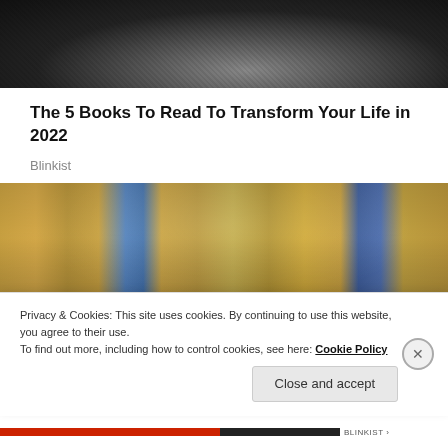[Figure (photo): Black and white close-up photo of a person's face, partially visible at the top of the page]
The 5 Books To Read To Transform Your Life in 2022
Blinkist
[Figure (photo): Color photo of a busy retail store (Walmart-style) with shoppers in the aisles, wearing colorful winter clothing, shopping carts visible, store signage in the background]
Privacy & Cookies: This site uses cookies. By continuing to use this website, you agree to their use.
To find out more, including how to control cookies, see here: Cookie Policy
Close and accept